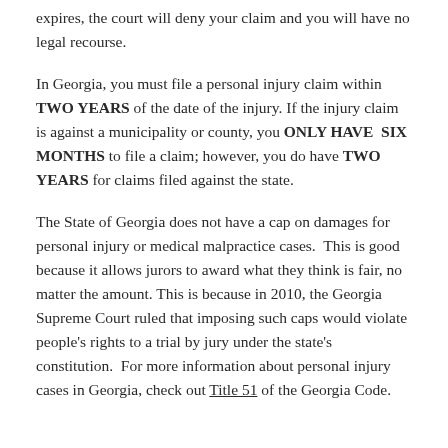expires, the court will deny your claim and you will have no legal recourse.
In Georgia, you must file a personal injury claim within TWO YEARS of the date of the injury. If the injury claim is against a municipality or county, you ONLY HAVE SIX MONTHS to file a claim; however, you do have TWO YEARS for claims filed against the state.
The State of Georgia does not have a cap on damages for personal injury or medical malpractice cases. This is good because it allows jurors to award what they think is fair, no matter the amount. This is because in 2010, the Georgia Supreme Court ruled that imposing such caps would violate people's rights to a trial by jury under the state's constitution. For more information about personal injury cases in Georgia, check out Title 51 of the Georgia Code.